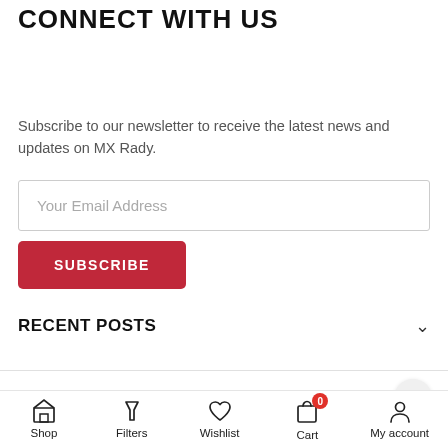CONNECT WITH US
Subscribe to our newsletter to receive the latest news and updates on MX Rady.
Your Email Address
SUBSCRIBE
RECENT POSTS
Copyright © 2022 MXRADY. All Rights Reserved.
[Figure (infographic): Bottom navigation bar with icons: Shop (store icon), Filters (funnel icon), Wishlist (heart icon), Cart (bag icon with badge showing 0), My account (person icon)]